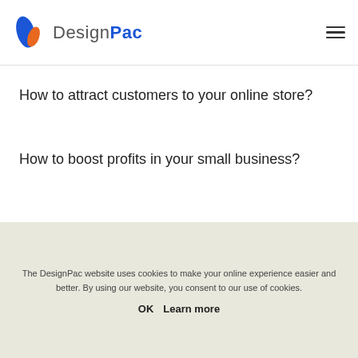DesignPac
How to attract customers to your online store?
How to boost profits in your small business?
The DesignPac website uses cookies to make your online experience easier and better. By using our website, you consent to our use of cookies.
OK   Learn more